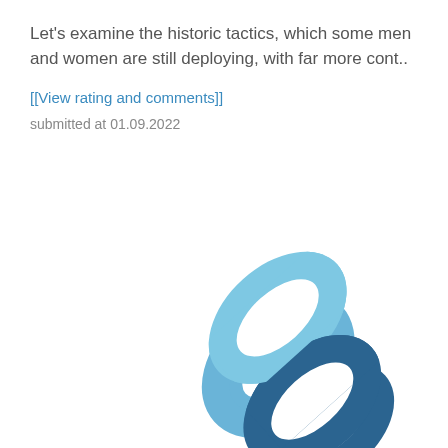Let's examine the historic tactics, which some men and women are still deploying, with far more cont..
[[View rating and comments]]
submitted at 01.09.2022
[Figure (illustration): A chain link icon consisting of two interlocked oval chain links. The upper-right link is light blue and the lower-left link is dark blue/navy. The image is rotated diagonally and partially cropped at the bottom of the page.]